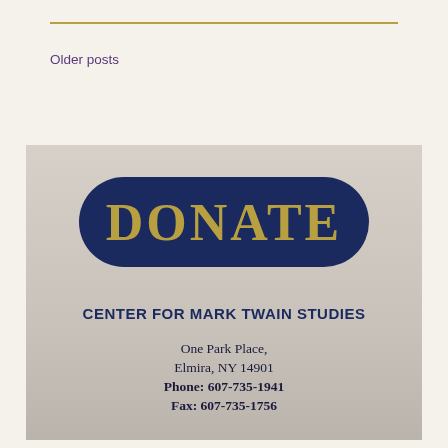Older posts
[Figure (logo): DONATE button banner with dark navy rounded rectangle containing gold text 'DONATE', below which is the Center for Mark Twain Studies contact information on a beige/grey background]
CENTER FOR MARK TWAIN STUDIES
One Park Place,
Elmira, NY 14901
Phone: 607-735-1941
Fax: 607-735-1756